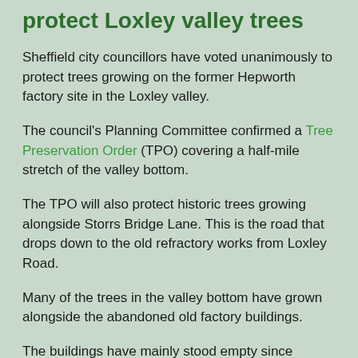protect Loxley valley trees
Sheffield city councillors have voted unanimously to protect trees growing on the former Hepworth factory site in the Loxley valley.
The council's Planning Committee confirmed a Tree Preservation Order (TPO) covering a half-mile stretch of the valley bottom.
The TPO will also protect historic trees growing alongside Storrs Bridge Lane. This is the road that drops down to the old refractory works from Loxley Road.
Many of the trees in the valley bottom have grown alongside the abandoned old factory buildings.
The buildings have mainly stood empty since production of refractory bricks ended in the 1990s.
The city council recently refused planning permission